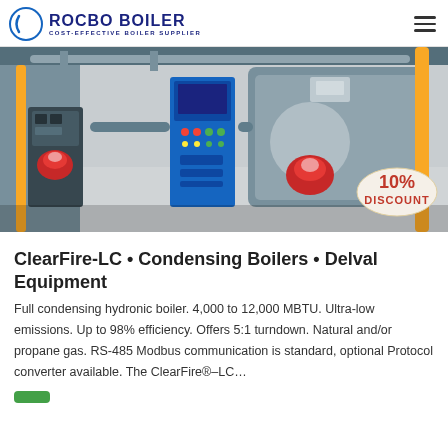ROCBO BOILER — COST-EFFECTIVE BOILER SUPPLIER
[Figure (photo): Industrial boiler room with two gas-fired boilers, red burners, control panels, yellow and silver piping. A red '10% DISCOUNT' badge overlaid in the bottom-right corner.]
ClearFire-LC • Condensing Boilers • Delval Equipment
Full condensing hydronic boiler. 4,000 to 12,000 MBTU. Ultra-low emissions. Up to 98% efficiency. Offers 5:1 turndown. Natural and/or propane gas. RS-485 Modbus communication is standard, optional Protocol converter available. The ClearFire®–LC…